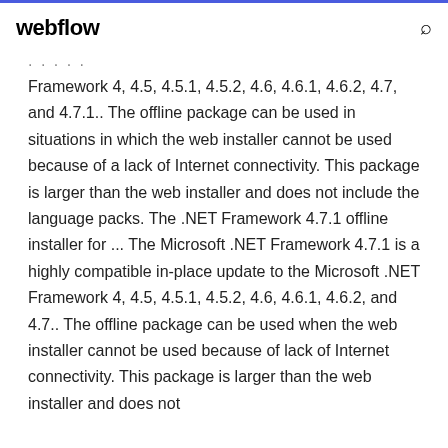webflow
Framework 4, 4.5, 4.5.1, 4.5.2, 4.6, 4.6.1, 4.6.2, 4.7, and 4.7.1.. The offline package can be used in situations in which the web installer cannot be used because of a lack of Internet connectivity. This package is larger than the web installer and does not include the language packs. The .NET Framework 4.7.1 offline installer for ... The Microsoft .NET Framework 4.7.1 is a highly compatible in-place update to the Microsoft .NET Framework 4, 4.5, 4.5.1, 4.5.2, 4.6, 4.6.1, 4.6.2, and 4.7.. The offline package can be used when the web installer cannot be used because of lack of Internet connectivity. This package is larger than the web installer and does not